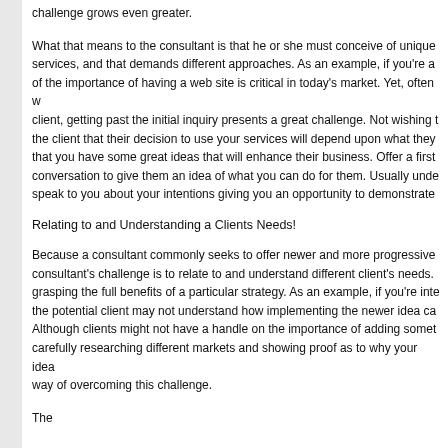challenge grows even greater.
What that means to the consultant is that he or she must conceive of unique services, and that demands different approaches. As an example, if you're a of the importance of having a web site is critical in today's market. Yet, often w client, getting past the initial inquiry presents a great challenge. Not wishing t the client that their decision to use your services will depend upon what they that you have some great ideas that will enhance their business. Offer a first conversation to give them an idea of what you can do for them. Usually unde speak to you about your intentions giving you an opportunity to demonstrate
Relating to and Understanding a Clients Needs!
Because a consultant commonly seeks to offer newer and more progressive consultant's challenge is to relate to and understand different client's needs. grasping the full benefits of a particular strategy. As an example, if you're inte the potential client may not understand how implementing the newer idea ca Although clients might not have a handle on the importance of adding somet carefully researching different markets and showing proof as to why your idea way of overcoming this challenge.
The...